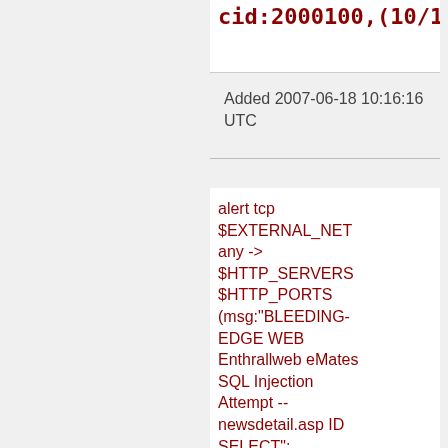cid:2000100,(10/12),)
Added 2007-06-18 10:16:16 UTC
alert tcp $EXTERNAL_NET any -> $HTTP_SERVERS $HTTP_PORTS (msg:"BLEEDING-EDGE WEB Enthrallweb eMates SQL Injection Attempt -- newsdetail.asp ID SELECT"; flow:established,to_serve uricontent:"/newsdetail.as nocase;